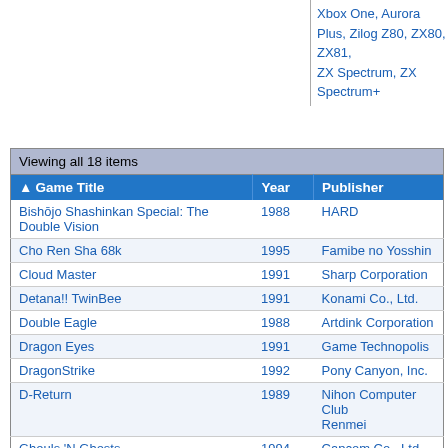Xbox One, Aurora Plus, Zilog Z80, ZX80, ZX81, ZX Spectrum, ZX Spectrum+
| Game Title | Year | Publisher |
| --- | --- | --- |
| Bishōjo Shashinkan Special: The Double Vision | 1988 | HARD |
| Cho Ren Sha 68k | 1995 | Famibe no Yosshin |
| Cloud Master | 1991 | Sharp Corporation |
| Detana!! TwinBee | 1991 | Konami Co., Ltd. |
| Double Eagle | 1988 | Artdink Corporation |
| Dragon Eyes | 1991 | Game Technopolis |
| DragonStrike | 1992 | Pony Canyon, Inc. |
| D-Return | 1989 | Nihon Computer Club Renmei |
| Ghouls 'N Ghosts | 1994 | Capcom Co., Ltd. |
| Ginga Eiyū Densetsu | 1990 | Bothtec, Inc. |
| Ginga Eiyū Densetsu II | 1990 | Bothtec, Inc. |
| Himitsu no Hanazono | 1992 | Game Technopolis |
| Parodius | 1991 | Konami Industry Co. Ltd. |
| Quarth | 1990 | Konami Industry Co. Ltd. |
| Sol-Feace | 1990 | Wolf Team |
| Solitaire Poker | 1989 | ASCII Corporation |